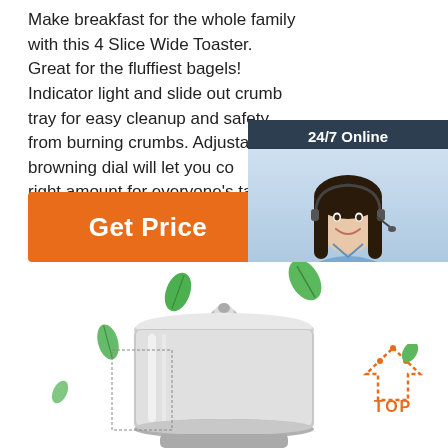Make breakfast for the whole family with this 4 Slice Wide Toaster. Great for the fluffiest bagels! Indicator light and slide out crumb tray for easy cleanup and safety from burning crumbs. Adjustable browning dial will let you control the right amount for everyone's taste. Cancel, reheat, and defrost settings.
[Figure (other): Get Price orange button]
[Figure (other): 24/7 Online chat widget with customer support representative photo, 'Click here for free chat!' text, and QUOTATION orange button]
[Figure (photo): Stainless steel pot/chafing dish product photo with floating green tea leaves on white background]
[Figure (other): TOP button with orange dotted house icon in bottom right corner]